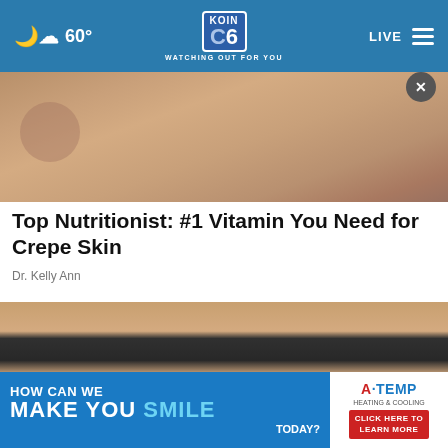60° KOIN 6 WATCHING OUT FOR YOU LIVE
[Figure (photo): Close-up photo of skin, showing an arm or wrist with a bracelet, textured aged skin]
Top Nutritionist: #1 Vitamin You Need for Crepe Skin
Dr. Kelly Ann
[Figure (photo): Close-up photo of a woman's face with dark hair, wearing a white mask, eyes visible]
[Figure (other): Advertisement banner: HOW CAN WE MAKE YOU SMILE TODAY? with A-TEMP logo and CLICK HERE TO LEARN MORE button]